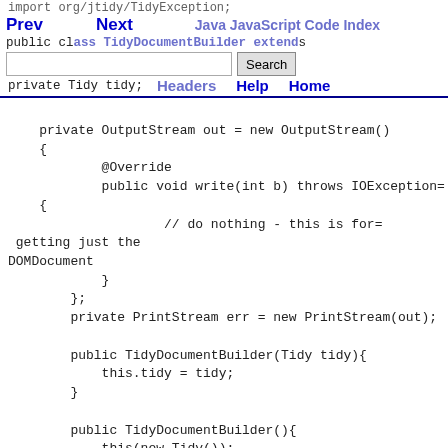import org.jtidy.TidyException; public class TidyDocumentBuilder extends ... Prev Next Java JavaScript Code Index Headers Help Home
private Tidy tidy;
    private OutputStream out = new OutputStream()
    {
            @Override
            public void write(int b) throws IOException=
    {
                    // do nothing - this is for=
 getting just the
DOMDocument
            }
        };
        private PrintStream err = new PrintStream(out);

        public TidyDocumentBuilder(Tidy tidy){
            this.tidy = tidy;
        }

        public TidyDocumentBuilder(){
            this(new Tidy());
            tidy.setMakeClean(false);
            tidy.setQuiet(true);